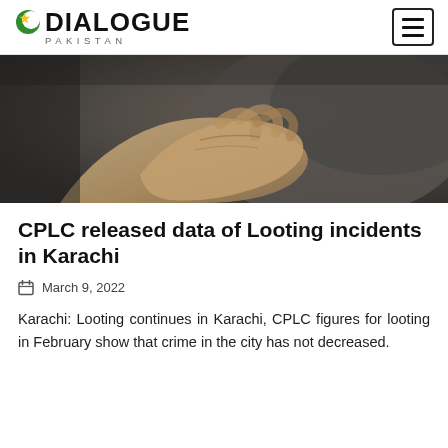DIALOGUE PAKISTAN
[Figure (photo): Close-up photograph of an outstretched hand/arm in dark clothing, dramatic low-key lighting, dark grey tones]
CPLC released data of Looting incidents in Karachi
March 9, 2022
Karachi: Looting continues in Karachi, CPLC figures for looting in February show that crime in the city has not decreased.